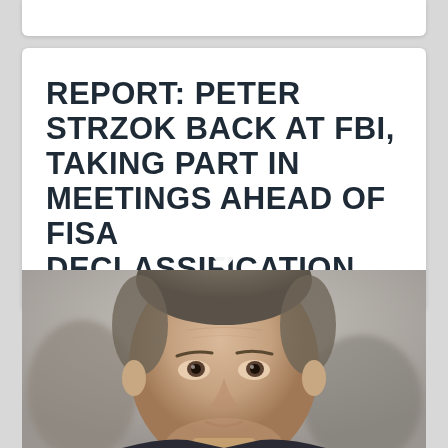REPORT: PETER STRZOK BACK AT FBI, TAKING PART IN MEETINGS AHEAD OF FISA DECLASSIFICATION
[Figure (photo): Close-up photograph of a middle-aged man with short gray-brown hair looking upward, wearing a dark suit. The background is blurred.]